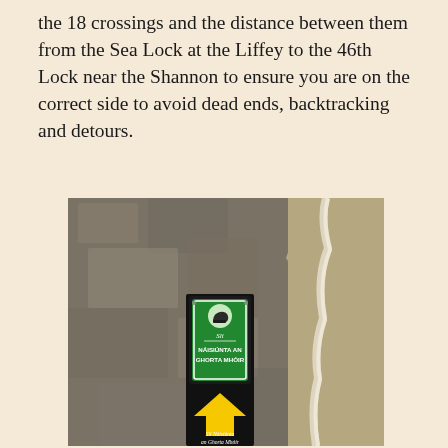the 18 crossings and the distance between them from the Sea Lock at the Liffey to the 46th Lock near the Shannon to ensure you are on the correct side to avoid dead ends, backtracking and detours.
[Figure (photo): A trail waymarker sign mounted on a stone wall. The sign has a black background with a green panel at the top showing a hiking boot icon and text reading 'NÁISIÚNTA AN GHORTA MHÓIR' with a stylized signature/logo above. Below the green panel is a large yellow upward-pointing arrow. At the bottom of the sign reads 'Slí Náisiúnta an Ghorta Mhóir'. The background shows a textured stone/concrete wall with a sandy or lichen-covered surface on the right side.]